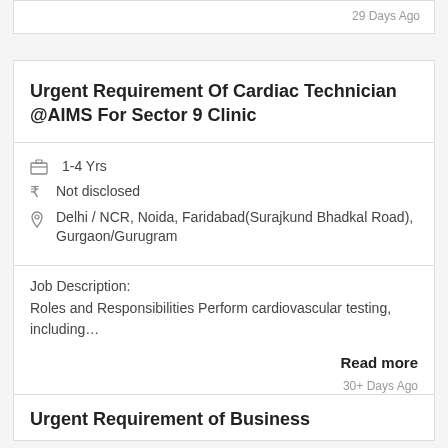29 Days Ago
Urgent Requirement Of Cardiac Technician @AIMS For Sector 9 Clinic
1-4 Yrs
₹ Not disclosed
Delhi / NCR, Noida, Faridabad(Surajkund Bhadkal Road), Gurgaon/Gurugram
Job Description:
Roles and Responsibilities Perform cardiovascular testing, including…
Read more
30+ Days Ago
Urgent Requirement of Business